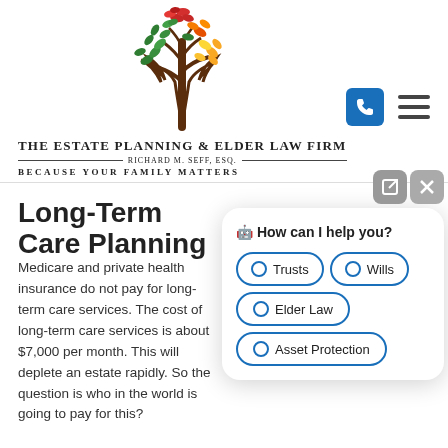[Figure (logo): Colorful decorative tree logo with red, orange, yellow, and green leaves on brown branches, used as law firm logo]
[Figure (other): Blue phone icon button and dark hamburger menu icon in the header]
THE ESTATE PLANNING & ELDER LAW FIRM — RICHARD M. SEFF, ESQ. — BECAUSE YOUR FAMILY MATTERS
Long-Term Care Planning
Medicare and private health insurance do not pay for long-term care services. The cost of long-term care services is about $7,000 per month. This will deplete an estate rapidly. So the question is who in the world is going to pay for this?
[Figure (screenshot): Chat widget overlay with text 'How can I help you?' and four radio button options: Trusts, Wills, Elder Law, Asset Protection]